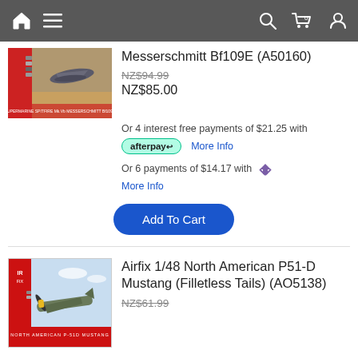Navigation bar with home, menu, search, cart (0), account icons
[Figure (photo): Airfix model kit box art showing Supermarine Spitfire and Messerschmitt Bf109E aircraft]
Messerschmitt Bf109E (A50160)
NZ$94.99
NZ$85.00
Or 4 interest free payments of $21.25 with afterpay More Info
Or 6 payments of $14.17 with [laybuy icon] More Info
Add To Cart
[Figure (photo): Airfix 1/48 North American P-51D Mustang model kit box art showing P-51D Mustang aircraft]
Airfix 1/48 North American P51-D Mustang (Filletless Tails) (AO5138)
NZ$61.99